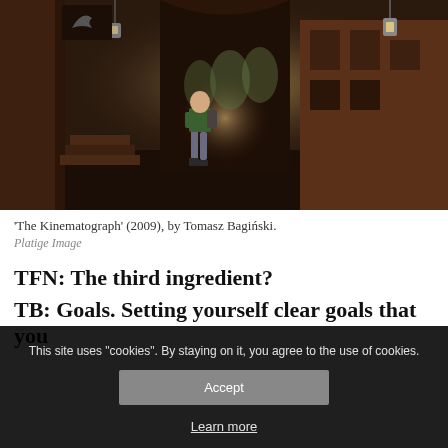[Figure (illustration): A CGI scene from 'The Kinematograph' showing a child walking through a dark, atmospheric street with large columns and warm background light]
'The Kinematograph' (2009), by Tomasz Bagiński.
Platige Image
TFN: The third ingredient?
TB: Goals. Setting yourself clear goals that you
This site uses "cookies". By staying on it, you agree to the use of cookies.
Accept
Learn more